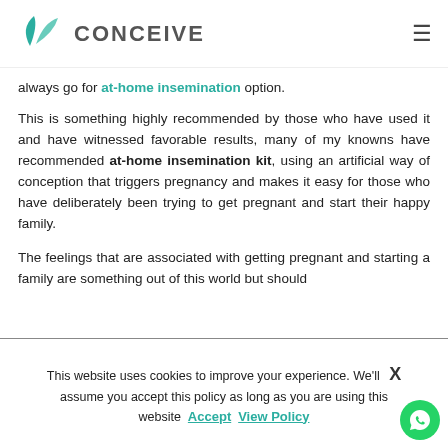CONCEIVE
always go for at-home insemination option.
This is something highly recommended by those who have used it and have witnessed favorable results, many of my knowns have recommended at-home insemination kit, using an artificial way of conception that triggers pregnancy and makes it easy for those who have deliberately been trying to get pregnant and start their happy family.
The feelings that are associated with getting pregnant and starting a family are something out of this world but should
This website uses cookies to improve your experience. We'll assume you accept this policy as long as you are using this website Accept View Policy